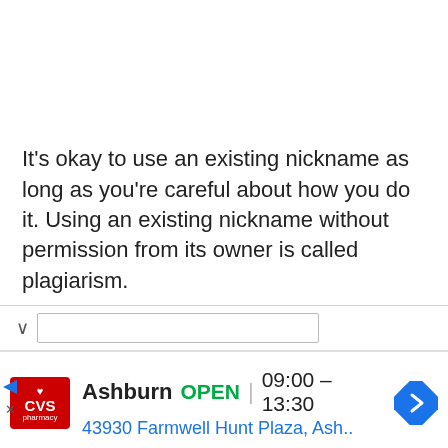It's okay to use an existing nickname as long as you're careful about how you do it. Using an existing nickname without permission from its owner is called plagiarism.
[Figure (screenshot): Advertisement banner for CVS Pharmacy showing store location in Ashburn, OPEN hours 09:00 – 13:30, and address 43930 Farmwell Hunt Plaza, Ash..]